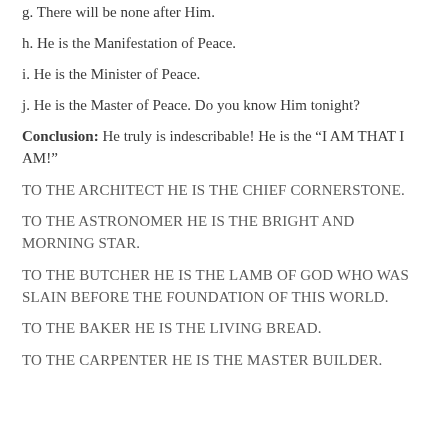g. There will be none after Him.
h. He is the Manifestation of Peace.
i. He is the Minister of Peace.
j. He is the Master of Peace. Do you know Him tonight?
Conclusion: He truly is indescribable! He is the “I AM THAT I AM!”
TO THE ARCHITECT HE IS THE CHIEF CORNERSTONE.
TO THE ASTRONOMER HE IS THE BRIGHT AND MORNING STAR.
TO THE BUTCHER HE IS THE LAMB OF GOD WHO WAS SLAIN BEFORE THE FOUNDATION OF THIS WORLD.
TO THE BAKER HE IS THE LIVING BREAD.
TO THE CARPENTER HE IS THE MASTER BUILDER.